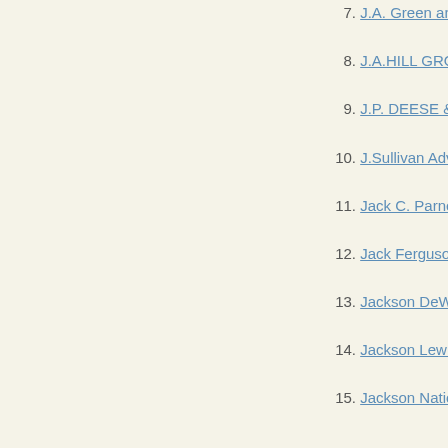7. J.A. Green and Company
8. J.A.HILL GROUP, LLC
9. J.P. DEESE & ASSOCIATES
10. J.Sullivan Advocacy
11. Jack C. Parnell
12. Jack Ferguson Assoc., Inc
13. Jackson DeWitt
14. Jackson Lewis PC
15. Jackson National Life Insu
16. Jacksonville Regional Cha
17. Jacobs Engineering Group
18. Jacobs Scholz & Associates
19. Jacobson, Magnuson, Anc
20. Jaguar Land Rover North A
21. Jaime Steve
22. Jake Perry + Partners
23. James Callan Associates L
24. James Dold
25. JAMES E. JOHNSON
26. James Edwards
27. James Graybeal
28. James Kuhn